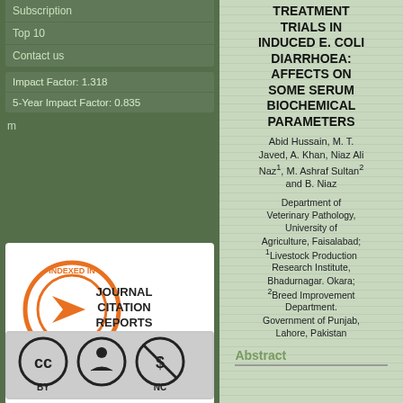Subscription
Top 10
Contact us
Impact Factor: 1.318
5-Year Impact Factor: 0.835
[Figure (logo): Journal Citation Reports - Thomson Reuters indexed badge with orange ribbon/medal icon]
[Figure (logo): Creative Commons BY NC license badge]
TREATMENT TRIALS IN INDUCED E. COLI DIARRHOEA: AFFECTS ON SOME SERUM BIOCHEMICAL PARAMETERS
Abid Hussain, M. T. Javed, A. Khan, Niaz Ali Naz¹, M. Ashraf Sultan² and B. Niaz
Department of Veterinary Pathology, University of Agriculture, Faisalabad; ¹Livestock Production Research Institute, Bhadurnagar. Okara; ²Breed Improvement Department. Government of Punjab, Lahore, Pakistan
Abstract